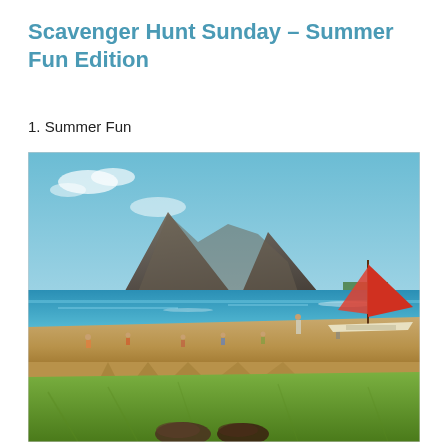Scavenger Hunt Sunday – Summer Fun Edition
1. Summer Fun
[Figure (photo): Beach scene with turquoise water, sandy beach with people, a dramatic rocky mountain in the background, a red sailboat on the right, green grass and person's feet in the foreground (viewpoint from someone lying on the grass looking toward the beach)]